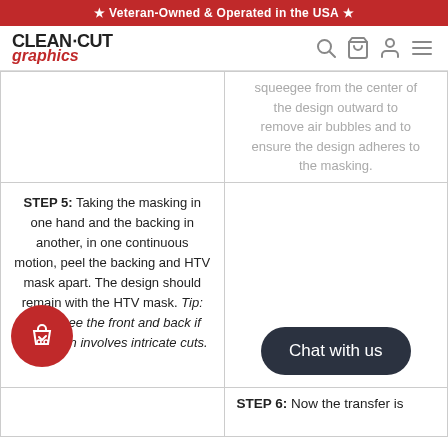★ Veteran-Owned & Operated in the USA ★
[Figure (logo): Clean Cut Graphics logo with red italic 'graphics' text]
squeegee from the center of the design outward to remove air bubbles and to ensure the design adheres to the masking.
STEP 5: Taking the masking in one hand and the backing in another, in one continuous motion, peel the backing and HTV mask apart. The design should remain with the HTV mask. Tip: Squeegee the front and back if the design involves intricate cuts.
Chat with us
STEP 6: Now the transfer is